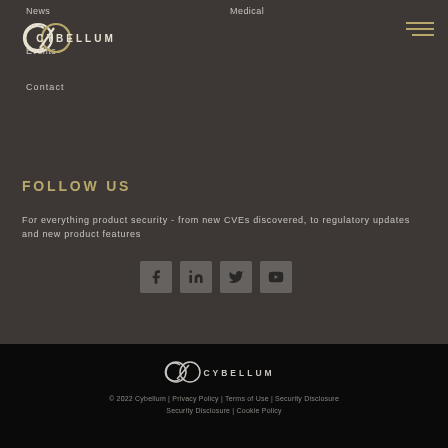News   Medical   Events
[Figure (logo): Cybellum logo - C/O symbol with CYBELLUM text]
[Figure (other): Hamburger menu icon with three horizontal lines]
Contact
FOLLOW US
For everything product security - from new CVEs discovered, to regulatory updates and new product features
[Figure (other): Social media icons: Facebook, LinkedIn, Twitter, YouTube]
[Figure (logo): Cybellum footer logo - C/O symbol with CYBELLUM text]
© 2022 Cybellum | Privacy Policy | Terms of Use | Security Disclosure | Cookie Policy